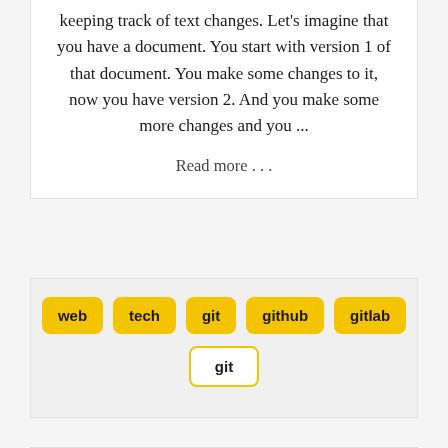keeping track of text changes. Let's imagine that you have a document. You start with version 1 of that document. You make some changes to it, now you have version 2. And you make some more changes and you ...
Read more . . .
web
tech
git
github
gitlab
git